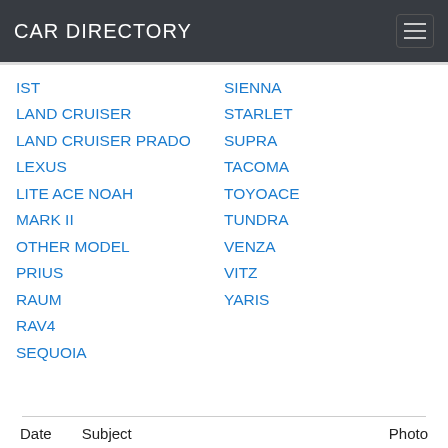CAR DIRECTORY
IST
LAND CRUISER
LAND CRUISER PRADO
LEXUS
LITE ACE NOAH
MARK II
OTHER MODEL
PRIUS
RAUM
RAV4
SEQUOIA
SIENNA
STARLET
SUPRA
TACOMA
TOYOACE
TUNDRA
VENZA
VITZ
YARIS
Date    Subject    Photo